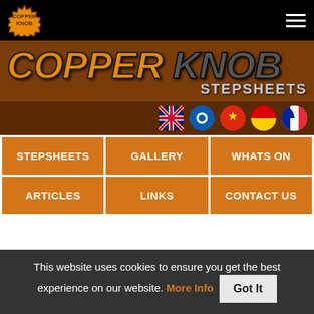[Figure (logo): Copper Knob logo badge in top-left of black navigation bar]
COPPER KNOB STEPSHEETS
[Figure (infographic): Row of 5 circular flag icons: UK, Taiwan, China, Germany, France]
STEPSHEETS
GALLERY
WHATS ON
ARTICLES
LINKS
CONTACT US
This website uses cookies to ensure you get the best experience on our website. More Info Got It